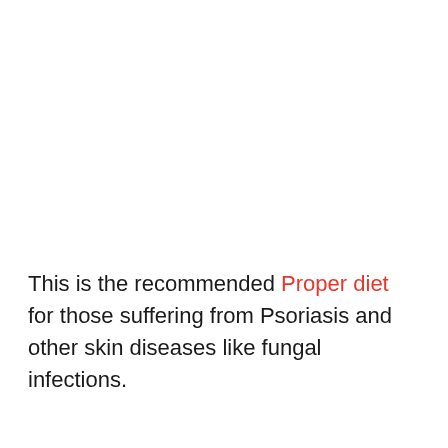This is the recommended Proper diet for those suffering from Psoriasis and other skin diseases like fungal infections.